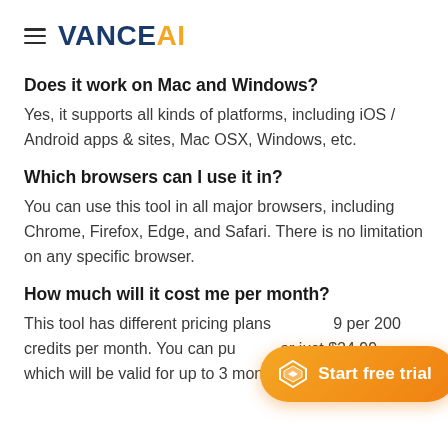≡ VANCE AI
Does it work on Mac and Windows?
Yes, it supports all kinds of platforms, including iOS / Android apps & sites, Mac OSX, Windows, etc.
Which browsers can I use it in?
You can use this tool in all major browsers, including Chrome, Firefox, Edge, and Safari. There is no limitation on any specific browser.
How much will it cost me per month?
This tool has different pricing plans... per 200 credits per month. You can pu... or just $24.99, which will be valid for up to 3 months.
[Figure (illustration): Orange rounded button with diamond/gem icon and text 'Start free trial']